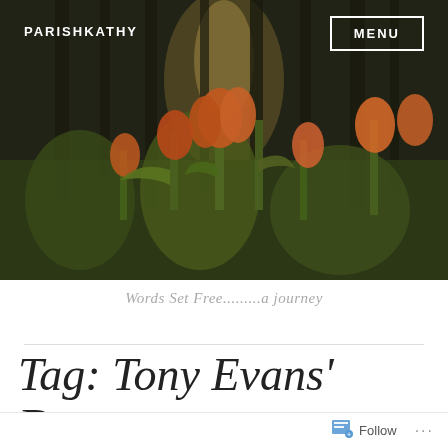[Figure (photo): Header photo of orange tulips in bloom with dark forest trees in the background, warm golden light]
PARISHKATHY
MENU
Words Set Free.........a journey
Tag: Tony Evans' Detours
Follow ...